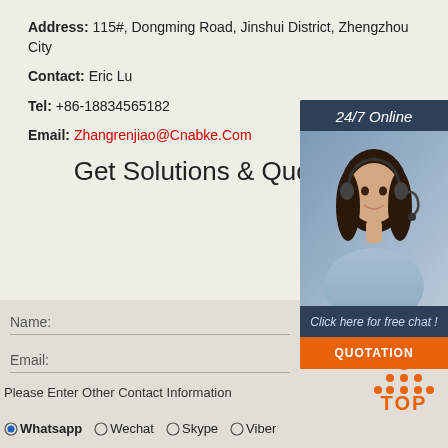Address: 115#, Dongming Road, Jinshui District, Zhengzhou City
Contact: Eric Lu
Tel: +86-18834565182
Email: Zhangrenjiao@Cnabke.Com
Get Solutions & Quotation
[Figure (illustration): Customer service representative with headset, with '24/7 Online' header, 'Click here for free chat!' text, and orange QUOTATION button]
Name:
Email:
Please Enter Other Contact Information
Whatsapp  Wechat  Skype  Viber
[Figure (illustration): Orange TOP button with dots above it]